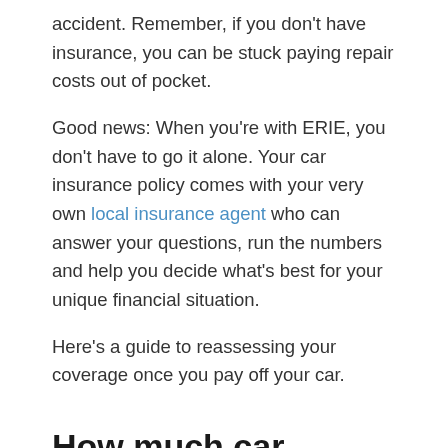accident. Remember, if you don't have insurance, you can be stuck paying repair costs out of pocket.
Good news: When you're with ERIE, you don't have to go it alone. Your car insurance policy comes with your very own local insurance agent who can answer your questions, run the numbers and help you decide what's best for your unique financial situation.
Here's a guide to reassessing your coverage once you pay off your car.
How much car insurance is required in your state?